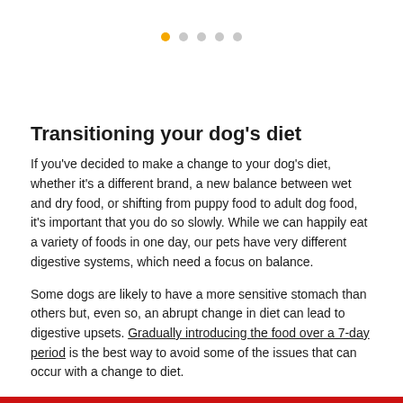[Figure (other): Pagination dots indicator with 5 dots, first dot active (orange/yellow), remaining four inactive (grey)]
Transitioning your dog's diet
If you've decided to make a change to your dog's diet, whether it's a different brand, a new balance between wet and dry food, or shifting from puppy food to adult dog food, it's important that you do so slowly. While we can happily eat a variety of foods in one day, our pets have very different digestive systems, which need a focus on balance.
Some dogs are likely to have a more sensitive stomach than others but, even so, an abrupt change in diet can lead to digestive upsets. Gradually introducing the food over a 7-day period is the best way to avoid some of the issues that can occur with a change to diet.